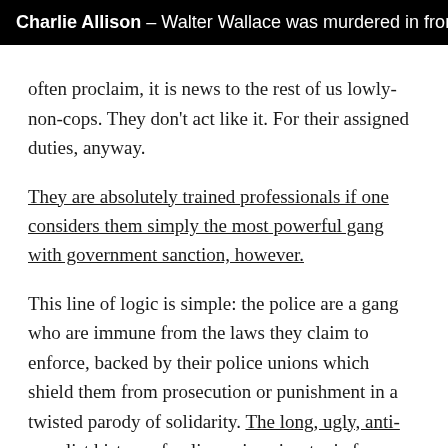Charlie Allison – Walter Wallace was murdered in front
often proclaim, it is news to the rest of us lowly-non-cops. They don't act like it. For their assigned duties, anyway. They are absolutely trained professionals if one considers them simply the most powerful gang with government sanction, however. This line of logic is simple: the police are a gang who are immune from the laws they claim to enforce, backed by their police unions which shield them from prosecution or punishment in a twisted parody of solidarity. The long, ugly, anti-populist history of police unions is a topic for another time, however.